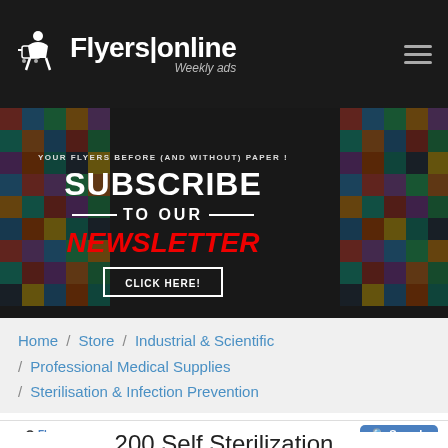FlyersOnline — Weekly ads
[Figure (screenshot): Subscribe to our Newsletter banner ad with woman on laptop and colorful icon background]
Home / Store / Industrial & Scientific / Professional Medical Supplies / Sterilisation & Infection Prevention
[Figure (logo): FlyersOnline weekly ads logo with magnifying glass and Search button]
200 Self Sterilization